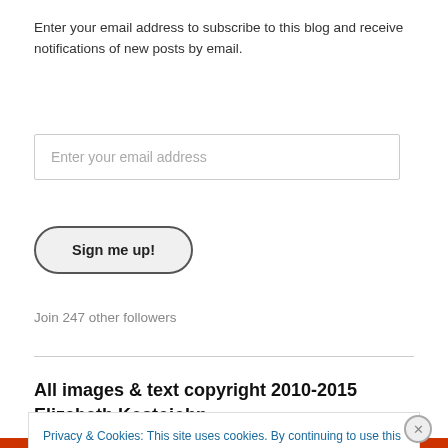Enter your email address to subscribe to this blog and receive notifications of new posts by email.
Enter your email address
Sign me up!
Join 247 other followers
All images & text copyright 2010-2015 Elizabeth Kostojohn
Privacy & Cookies: This site uses cookies. By continuing to use this website, you agree to their use.
To find out more, including how to control cookies, see here: Cookie Policy
Close and accept